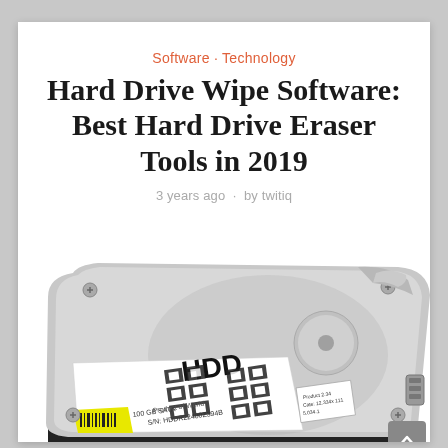Software · Technology
Hard Drive Wipe Software: Best Hard Drive Eraser Tools in 2019
3 years ago · by twitiq
[Figure (illustration): Isometric illustration of a hard disk drive (HDD) with a white label showing 'HDD', barcodes, serial number, and product text. The drive has a silver/grey casing with screws and a yellow sticker section.]